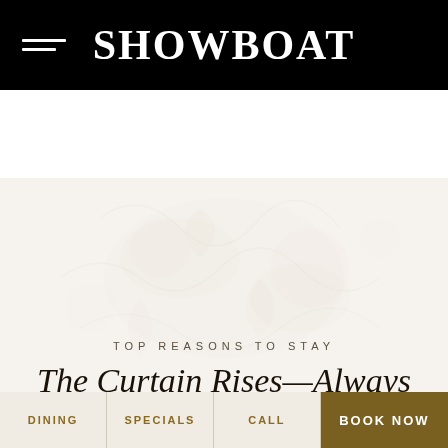SHOWBOAT
[Figure (photo): Faded sepia-toned hero image with vintage theatrical/floral motif background, very light and washed out]
TOP REASONS TO STAY
The Curtain Rises—Always
DINING   SPECIALS   CALL   BOOK NOW